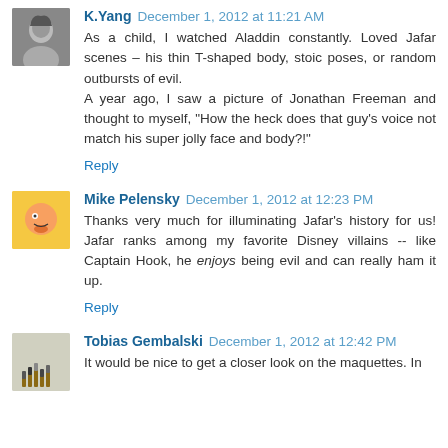K.Yang December 1, 2012 at 11:21 AM
As a child, I watched Aladdin constantly. Loved Jafar scenes – his thin T-shaped body, stoic poses, or random outbursts of evil.
A year ago, I saw a picture of Jonathan Freeman and thought to myself, "How the heck does that guy's voice not match his super jolly face and body?!"
Reply
Mike Pelensky December 1, 2012 at 12:23 PM
Thanks very much for illuminating Jafar's history for us! Jafar ranks among my favorite Disney villains -- like Captain Hook, he enjoys being evil and can really ham it up.
Reply
Tobias Gembalski December 1, 2012 at 12:42 PM
It would be nice to get a closer look on the maquettes. In